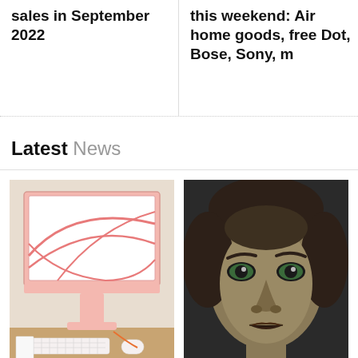sales in September 2022
this weekend: Air home goods, free Dot, Bose, Sony, m
Latest News
[Figure (photo): Pink iMac with pink keyboard and mouse on a wooden desk]
[Figure (photo): Close-up of a woman's face with green eyes looking intensely at camera]